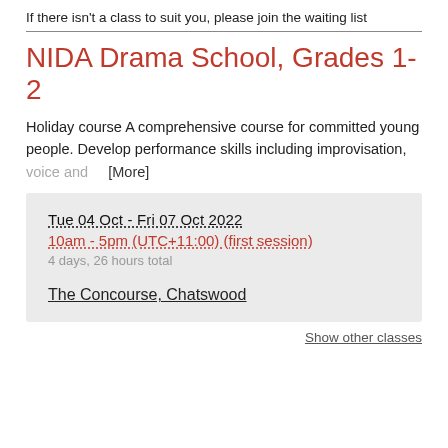If there isn't a class to suit you, please join the waiting list
NIDA Drama School, Grades 1-2
Holiday course A comprehensive course for committed young people. Develop performance skills including improvisation, voice and [More]
Tue 04 Oct - Fri 07 Oct 2022
10am - 5pm (UTC+11:00) (first session)
4 days, 26 hours total
The Concourse, Chatswood
Show other classes